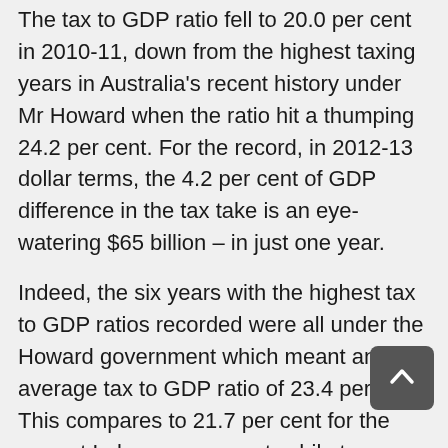The tax to GDP ratio fell to 20.0 per cent in 2010-11, down from the highest taxing years in Australia's recent history under Mr Howard when the ratio hit a thumping 24.2 per cent. For the record, in 2012-13 dollar terms, the 4.2 per cent of GDP difference in the tax take is an eye-watering $65 billion – in just one year.
Indeed, the six years with the highest tax to GDP ratios recorded were all under the Howard government which meant an average tax to GDP ratio of 23.4 per cent. This compares to 21.7 per cent for the current Labor government, while tax under the Hawke and Keating governments averaged 21.8 per cent of GDP over their 13 years in office.